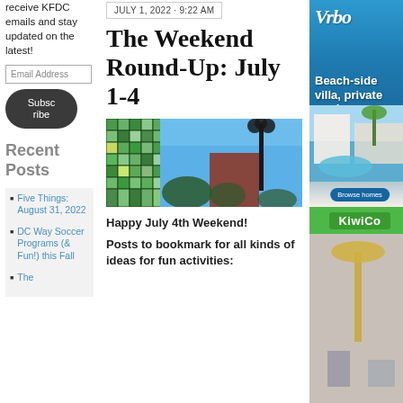receive KFDC emails and stay updated on the latest!
Email Address
Subscribe
Recent Posts
Five Things: August 31, 2022
DC Way Soccer Programs (& Fun!) this Fall
The
JULY 1, 2022 · 9:22 AM
The Weekend Round-Up: July 1-4
[Figure (photo): Outdoor scene with green mosaic tile sculpture on left, lamp post in center, red brick building and trees in background against blue sky]
Happy July 4th Weekend!
Posts to bookmark for all kinds of ideas for fun activities:
[Figure (illustration): Vrbo advertisement: Beach-side villa, private pool. Browse homes button.]
[Figure (illustration): KiwiCo advertisement with green logo and product image]